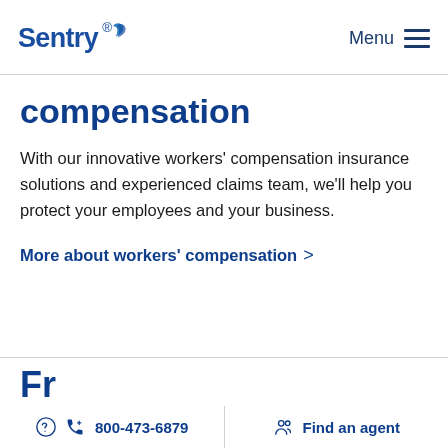Sentry — Menu
compensation
With our innovative workers' compensation insurance solutions and experienced claims team, we'll help you protect your employees and your business.
More about workers' compensation >
Fr...
800-473-6879   Find an agent